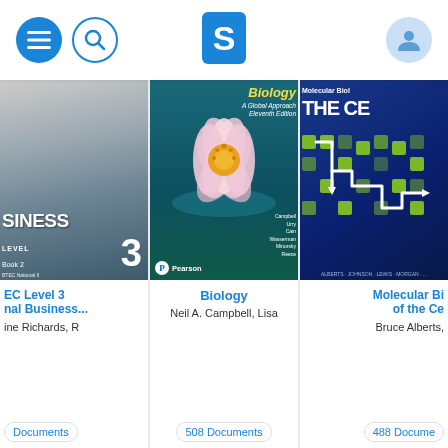[Figure (screenshot): App header bar with hamburger menu button (blue circle), search button (circle outline), Stuvia 'S' logo in center, and user profile icon (light blue circle) on right]
[Figure (photo): Book cover: BTEC Level 3 National Business Book 2 - shows woman sitting with tablet, text 'SINESS LEVEL 3 Book 2']
EC Level 3
nal Business...
ine Richards, R
Documents
[Figure (photo): Book cover: Biology A Global Approach by Campbell et al., Pearson - shows pink lotus flower on teal background]
Biology
Neil A. Campbell, Lisa
508 Documents
[Figure (photo): Book cover: Molecular Biology of the Cell - blue cover with green squares and white circuit-like pattern]
Molecular Bi
of the Ce
Bruce Alberts,
488 Docume